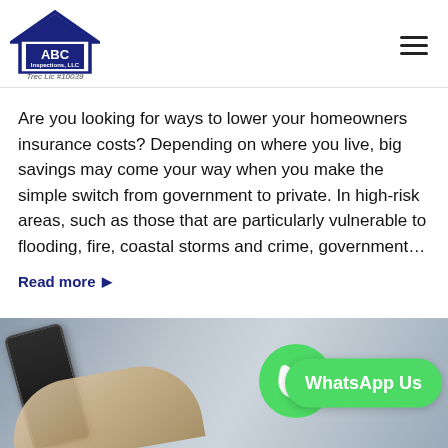[Figure (logo): ABC Inspections LLC logo with house outline in navy blue. Text 'ABC' and 'Inspections, LLC' inside house shape.]
Are you looking for ways to lower your homeowners insurance costs? Depending on where you live, big savings may come your way when you make the simple switch from government to private. In high-risk areas, such as those that are particularly vulnerable to flooding, fire, coastal storms and crime, government…
Read more ▶
[Figure (photo): Hand holding a smartphone with WhatsApp logo (green circle with phone icon) and a green 'WhatsApp Us' button visible.]